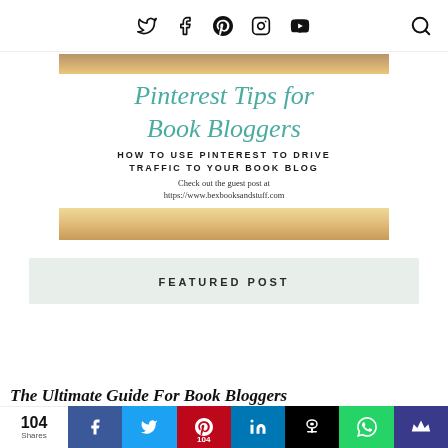Social media navigation icons: Twitter, Facebook, Pinterest, Instagram, YouTube, Search
[Figure (illustration): Blog post card image for 'Pinterest Tips for Book Bloggers - How to Use Pinterest to Drive Traffic to Your Book Blog', with teal script title, bold uppercase subtitle, and guest post URL https://www.bexbooksandstuff.com, set against a warm sandy/golden book background image]
FEATURED POST
The Ultimate Guide For Book Bloggers
104 Shares — Social share bar with Facebook, Twitter, Pinterest (104), LinkedIn, Hootsuite, WhatsApp, and a crown/save button